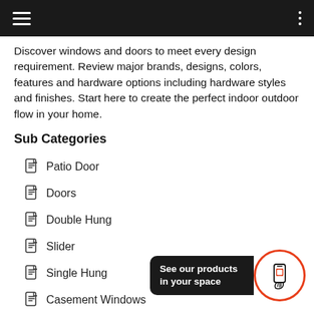Discover windows and doors to meet every design requirement. Review major brands, designs, colors, features and hardware options including hardware styles and finishes. Start here to create the perfect indoor outdoor flow in your home.
Sub Categories
Patio Door
Doors
Double Hung
Slider
Single Hung
Casement Windows
[Figure (infographic): AR/phone icon button with 'See our products in your space' label inside a dark rounded rectangle, next to a circular orange-bordered icon of a hand holding a phone with a scan target.]